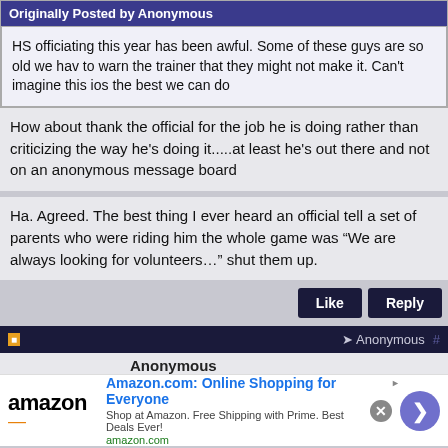Originally Posted by Anonymous
HS officiating this year has been awful. Some of these guys are so old we hav to warn the trainer that they might not make it. Can't imagine this ios the best we can do
How about thank the official for the job he is doing rather than criticizing the way he's doing it.....at least he's out there and not on an anonymous message board
Ha. Agreed. The best thing I ever heard an official tell a set of parents who were riding him the whole game was “We are always looking for volunteers…” shut them up.
Like   Reply
Anonymous
Anonymous
[Figure (screenshot): Amazon advertisement banner with logo, headline 'Amazon.com: Online Shopping for Everyone', subtext 'Shop at Amazon. Free Shipping with Prime. Best Deals Ever!', amazon.com URL, close button, and navigation arrow.]